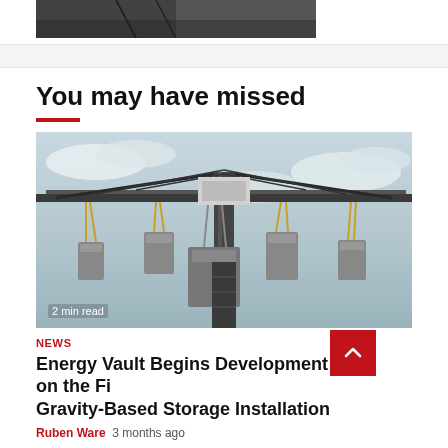[Figure (photo): Partial top image strip showing a dark photo (partially visible)]
[Figure (photo): Photograph of a large construction crane with multiple arms and heavy concrete blocks hanging, taken from below against a cloudy sky. Label '2 min read' in bottom left.]
You may have missed
NEWS
Energy Vault Begins Development on the Fi Gravity-Based Storage Installation
Ruben Ware  3 months ago